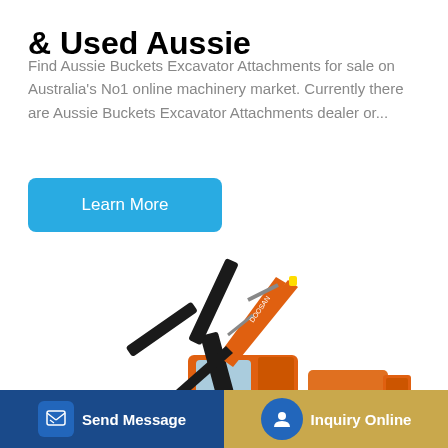& Used Aussie
Find Aussie Buckets Excavator Attachments for sale on Australia's No1 online machinery market. Currently there are Aussie Buckets Excavator Attachments dealer or...
[Figure (other): Blue rounded button labeled Learn More]
[Figure (photo): Orange Doosan excavator on white background]
[Figure (other): Bottom bar with Send Message button (dark blue) and Inquiry Online button (gold/tan)]